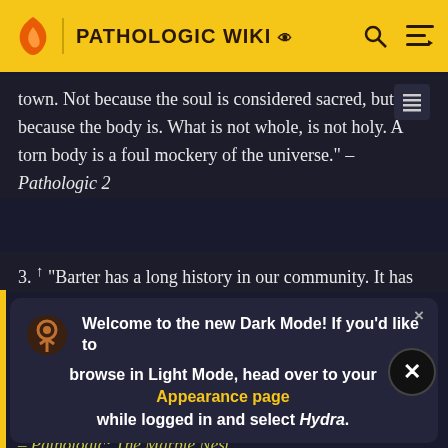PATHOLOGIC WIKI
town. Not because the soul is considered sacred, but because the body is. What is not whole, is not holy. A torn body is a foul mockery of the universe." - Pathologic 2
3. ↑ "Barter has a long history in our community. It has
Welcome to the new Dark Mode! If you'd like to browse in Light Mode, head over to your Appearance page while logged in and select Hydra.
the whole community reveled in. Including many types… sometimes secret, with people swapping wrapped items blindly.
- Pathologic: The Marble Nest
5. ↑ "Water is brought to the town daily from a spring in